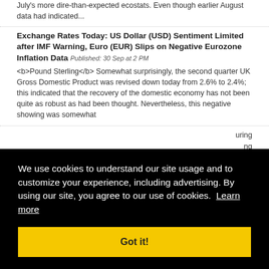July's more dire-than-expected ecostats. Even though earlier August data had indicated...
Exchange Rates Today: US Dollar (USD) Sentiment Limited after IMF Warning, Euro (EUR) Slips on Negative Eurozone Inflation Data
Published: 30 Sep at 2 PM
<b>Pound Sterling</b> Somewhat surprisingly, the second quarter UK Gross Domestic Product was revised down today from 2.6% to 2.4%; this indicated that the recovery of the domestic economy has not been quite as robust as had been thought. Nevertheless, this negative showing was somewhat
[Figure (screenshot): Cookie consent overlay on a black background reading: 'We use cookies to understand our site usage and to customize your experience, including advertising. By using our site, you agree to our use of cookies. Learn more' with a yellow 'Got it!' button.]